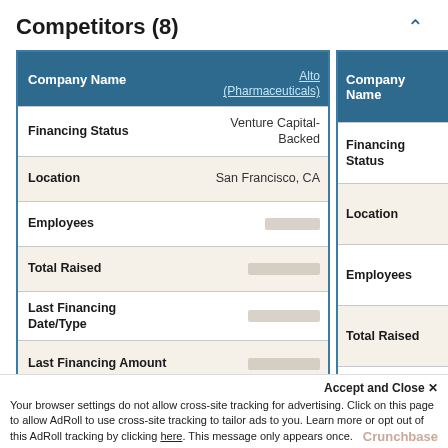Competitors (8)
| Company Name | Alto (Pharmaceuticals) |
| --- | --- |
| Financing Status | Venture Capital-Backed |
| Location | San Francisco, CA |
| Employees | [redacted] |
| Total Raised | [redacted] |
| Last Financing Date/Type | [redacted] |
| Last Financing Amount | [redacted] |
| Company Name |  |
| --- | --- |
| Financing Status |  |
| Location |  |
| Employees |  |
| Total Raised |  |
| Last Financing Date/Type |  |
| Last Financing Amount |  |
You're viewing 2 of 8 competitors. Get the full list »
Accept and Close ✕
Your browser settings do not allow cross-site tracking for advertising. Click on this page to allow AdRoll to use cross-site tracking to tailor ads to you. Learn more or opt out of this AdRoll tracking by clicking here. This message only appears once.